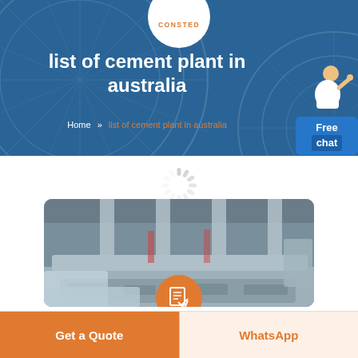CONSTED
list of cement plant in australia
Home » list of cement plant in australia
[Figure (photo): Industrial factory floor with heavy machinery, cement plant equipment on conveyor line in large warehouse.]
Get a Quote
WhatsApp